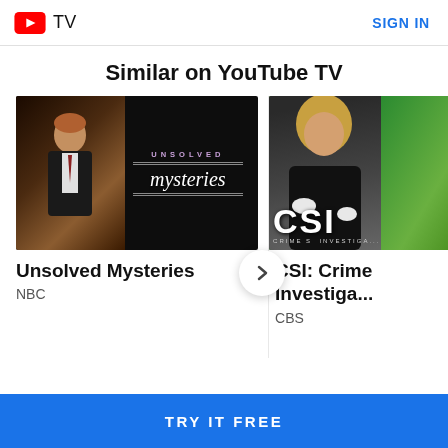YouTube TV  SIGN IN
Similar on YouTube TV
[Figure (screenshot): Thumbnail for Unsolved Mysteries TV show: host in suit on left, show logo with 'UNSOLVED mysteries' text on dark background on right]
Unsolved Mysteries
NBC
[Figure (screenshot): Thumbnail for CSI: Crime Scene Investigation TV show: woman in dark outfit on green-tinted background with CSI logo text overlay]
CSI: Crime Scene Investigation
CBS
TRY IT FREE